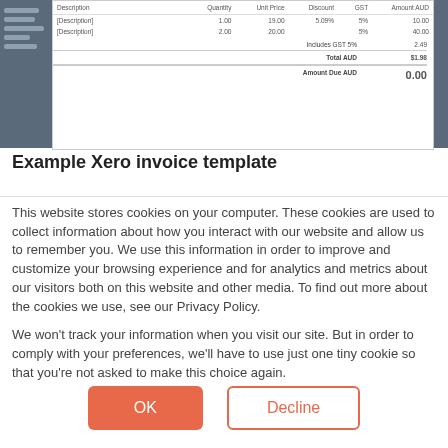[Figure (screenshot): Screenshot of a Xero invoice template showing a table with columns: Description, Quantity, Unit Price, Discount, GST, Amount AUD. Two rows: [Description], 1.00, 19.00, 5.09%, 5%, 10.00 and [Description], 2.00, 20.00, (blank), 5%, 40.00. Summary: Includes GST 5% = 2.49, Total AUD = $1.98, Amount Due AUD = 0.00]
Example Xero invoice template
This website stores cookies on your computer. These cookies are used to collect information about how you interact with our website and allow us to remember you. We use this information in order to improve and customize your browsing experience and for analytics and metrics about our visitors both on this website and other media. To find out more about the cookies we use, see our Privacy Policy.
We won't track your information when you visit our site. But in order to comply with your preferences, we'll have to use just one tiny cookie so that you're not asked to make this choice again.